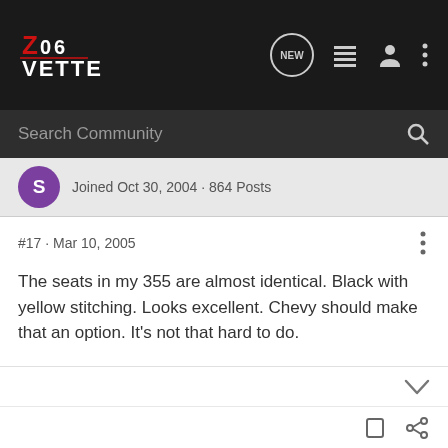[Figure (logo): Z06Vette forum logo — Z06 Vette text in red/white on dark background]
Search Community
Joined Oct 30, 2004 · 864 Posts
#17 · Mar 10, 2005
The seats in my 355 are almost identical. Black with yellow stitching. Looks excellent. Chevy should make that an option. It's not that hard to do.
Zrod · Registered